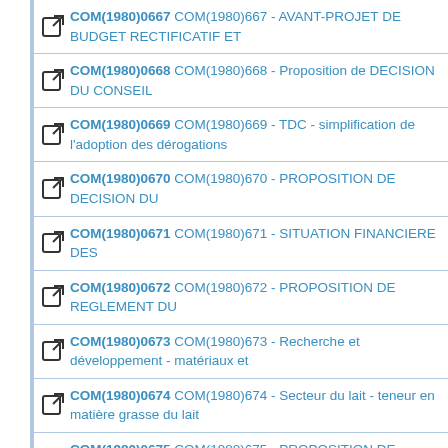COM(1980)0667 COM(1980)667 - AVANT-PROJET DE BUDGET RECTIFICATIF ET
COM(1980)0668 COM(1980)668 - Proposition de DECISION DU CONSEIL
COM(1980)0669 COM(1980)669 - TDC - simplification de l'adoption des dérogations
COM(1980)0670 COM(1980)670 - PROPOSITION DE DECISION DU
COM(1980)0671 COM(1980)671 - SITUATION FINANCIERE DES
COM(1980)0672 COM(1980)672 - PROPOSITION DE REGLEMENT DU
COM(1980)0673 COM(1980)673 - Recherche et développement - matériaux et
COM(1980)0674 COM(1980)674 - Secteur du lait - teneur en matière grasse du lait
COM(1980)0675 COM(1980)675 - PROPOSITION DE REGLEMENT (CEE)
COM(1980)0676 COM(1980)676 - COMMUNICATION DE LA COMMISSION
COM(1980)0677 COM(1980)677 -